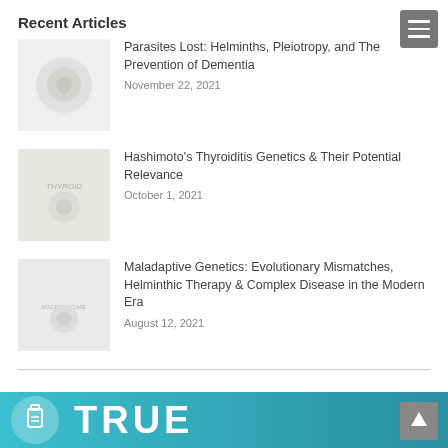Recent Articles
Parasites Lost: Helminths, Pleiotropy, and The Prevention of Dementia
November 22, 2021
Hashimoto's Thyroiditis Genetics & Their Potential Relevance
October 1, 2021
Maladaptive Genetics: Evolutionary Mismatches, Helminthic Therapy & Complex Disease in the Modern Era
August 12, 2021
[Figure (illustration): Partial bottom banner showing teal gradient background with large white bold text 'TRUE' and a circular icon with a beaker/flask symbol]